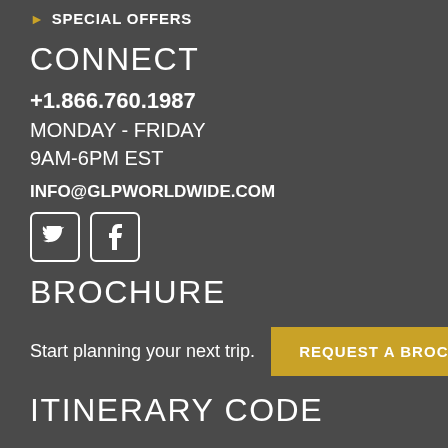SPECIAL OFFERS
CONNECT
+1.866.760.1987
MONDAY - FRIDAY
9AM-6PM EST
INFO@GLPWORLDWIDE.COM
[Figure (illustration): Twitter and Facebook social media icons in white rounded square borders]
BROCHURE
Start planning your next trip.
REQUEST A BROCHURE
ITINERARY CODE